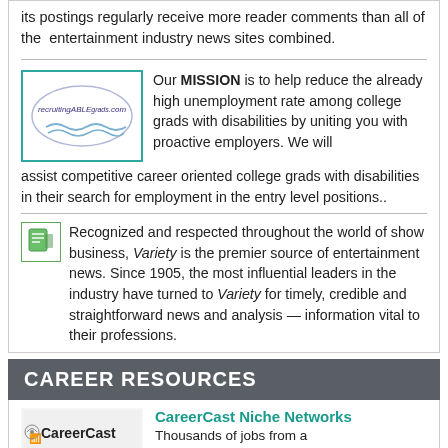its postings regularly receive more reader comments than all of the  entertainment industry news sites combined.
[Figure (logo): recruitingABLEgrads.com logo with blue oval and wave lines]
Our MISSION is to help reduce the already high unemployment rate among college grads with disabilities by uniting you with proactive employers. We will assist competitive career oriented college grads with disabilities in their search for employment in the entry level positions..
[Figure (logo): Variety magazine small green/teal icon]
Recognized and respected throughout the world of show business, Variety is the premier source of entertainment news. Since 1905, the most influential leaders in the industry have turned to Variety for timely, credible and straightforward news and analysis — information vital to their professions.
CAREER RESOURCES
[Figure (logo): CareerCast Niche Job Networks logo]
CareerCast Niche Networks
Thousands of jobs from a